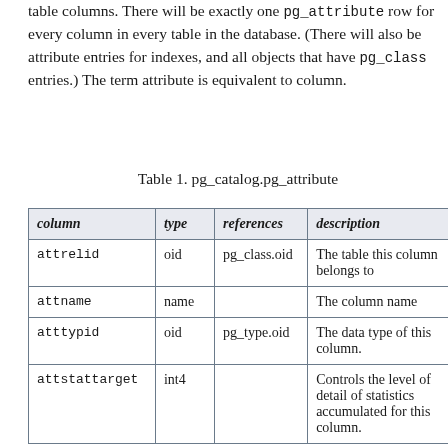table columns. There will be exactly one pg_attribute row for every column in every table in the database. (There will also be attribute entries for indexes, and all objects that have pg_class entries.) The term attribute is equivalent to column.
Table 1. pg_catalog.pg_attribute
| column | type | references | description |
| --- | --- | --- | --- |
| attrelid | oid | pg_class.oid | The table this column belongs to |
| attname | name |  | The column name |
| atttypid | oid | pg_type.oid | The data type of this column. |
| attstattarget | int4 |  | Controls the level of detail of statistics accumulated for this column. |